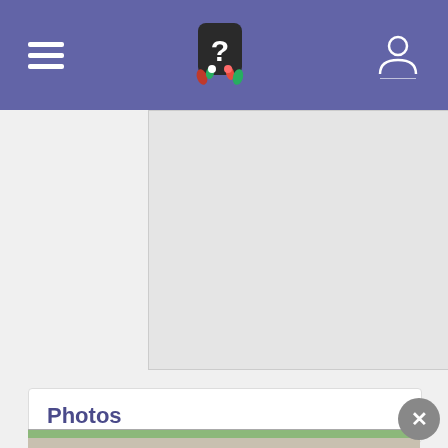Navigation bar with hamburger menu, logo with question mark, and user icon
[Figure (screenshot): Gray rectangular advertisement or content placeholder area]
Photos
[Figure (photo): American flags placed along a memorial wall, rows of red white and blue flags leaning against a stone wall with green trees in background]
Added by Shelley